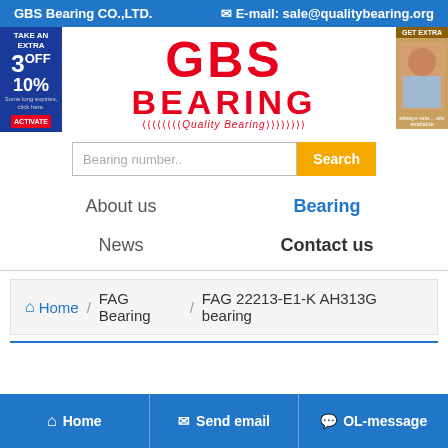GBS Bearing CO.,LTD.   ✉ E-mail: sale@qualitybearing.org
[Figure (logo): GBS Bearing logo with red block letters GBS BEARING and Quality Bearing tagline with arrow decorations]
[Figure (other): Search bar with placeholder 'Bearing number..' and orange Search button]
About us
Bearing
News
Contact us
Home / FAG Bearing / FAG 22213-E1-K AH313G bearing
Home   Send email   OL-message